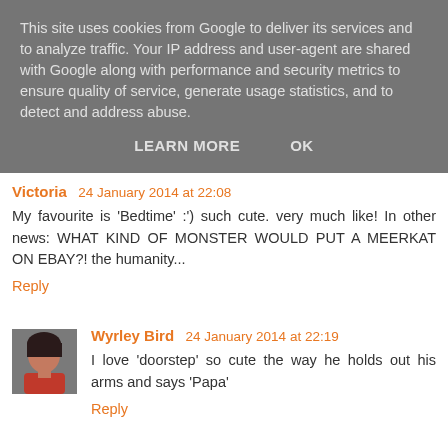This site uses cookies from Google to deliver its services and to analyze traffic. Your IP address and user-agent are shared with Google along with performance and security metrics to ensure quality of service, generate usage statistics, and to detect and address abuse.
LEARN MORE   OK
Victoria  24 January 2014 at 22:08
My favourite is 'Bedtime' :') such cute. very much like! In other news: WHAT KIND OF MONSTER WOULD PUT A MEERKAT ON EBAY?! the humanity...
Reply
[Figure (photo): Avatar photo of Wyrley Bird, a woman with dark hair wearing a red top]
Wyrley Bird  24 January 2014 at 22:19
I love 'doorstep' so cute the way he holds out his arms and says 'Papa'
Reply